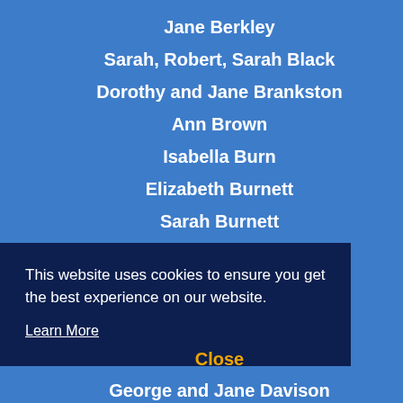Jane Berkley
Sarah, Robert, Sarah Black
Dorothy and Jane Brankston
Ann Brown
Isabella Burn
Elizabeth Burnett
Sarah Burnett
Mary Carr
This website uses cookies to ensure you get the best experience on our website.
Learn More
Close
George and Jane Davison